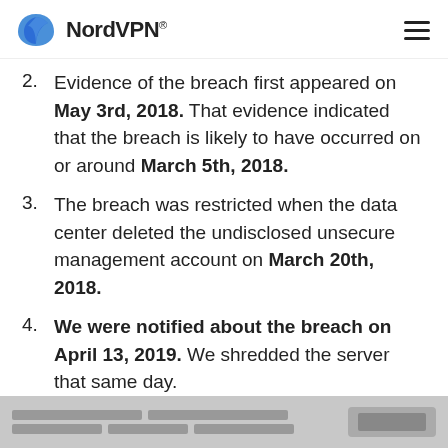NordVPN®
Evidence of the breach first appeared on May 3rd, 2018. That evidence indicated that the breach is likely to have occurred on or around March 5th, 2018.
The breach was restricted when the data center deleted the undisclosed unsecure management account on March 20th, 2018.
We were notified about the breach on April 13, 2019. We shredded the server that same day.
[redacted footer content]